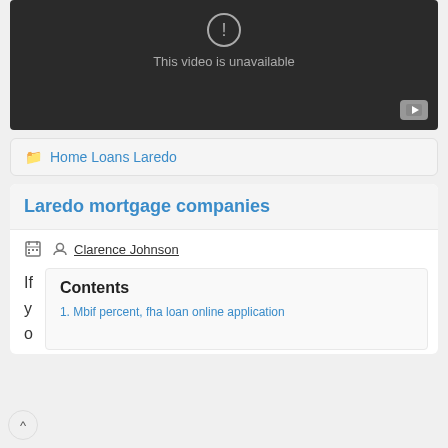[Figure (screenshot): Video player showing 'This video is unavailable' message with YouTube button in bottom right corner]
Home Loans Laredo
Laredo mortgage companies
Clarence Johnson
If yo
Contents
1. Mbif percent, fha loan online application